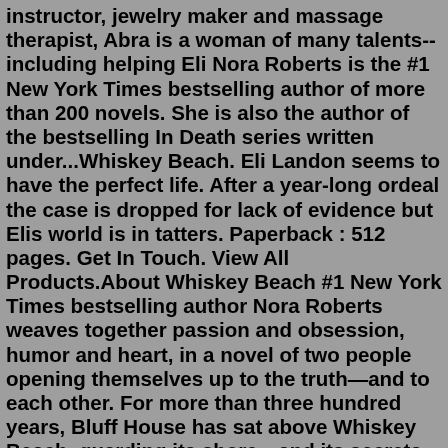instructor, jewelry maker and massage therapist, Abra is a woman of many talents--including helping Eli Nora Roberts is the #1 New York Times bestselling author of more than 200 novels. She is also the author of the bestselling In Death series written under...Whiskey Beach. Eli Landon seems to have the perfect life. After a year-long ordeal the case is dropped for lack of evidence but Elis world is in tatters. Paperback : 512 pages. Get In Touch. View All Products.About Whiskey Beach #1 New York Times bestselling author Nora Roberts weaves together passion and obsession, humor and heart, in a novel of two people opening themselves up to the truth—and to each other. For more than three hundred years, Bluff House has sat above Whiskey Beach, guarding its shore—and its secrets. But to Eli Landon, it's ... For use in schools and libraries only. Suffering an intense year of public and police scrutiny after being wrongly implicated in his fianc e's murder, Boston lawyer Eli Landon takes sanctuary in a centuries-old family home and falls in love with resident